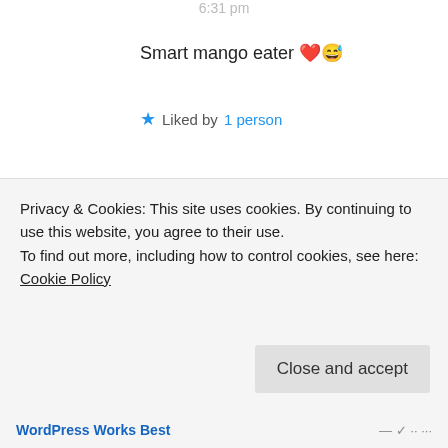6:31 pm
Smart mango eater ❤️😅
★ Liked by 1 person
Michele Lee
20th Jun 2021 at
7:04 pm
Privacy & Cookies: This site uses cookies. By continuing to use this website, you agree to their use.
To find out more, including how to control cookies, see here: Cookie Policy
Close and accept
WordPress Works Best